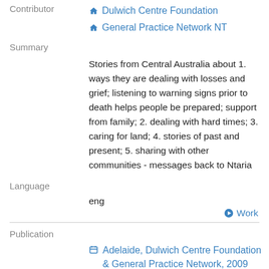Contributor
Dulwich Centre Foundation
General Practice Network NT
Summary
Stories from Central Australia about 1. ways they are dealing with losses and grief; listening to warning signs prior to death helps people be prepared; support from family; 2. dealing with hard times; 3. caring for land; 4. stories of past and present; 5. sharing with other communities - messages back to Ntaria
Language
eng
Work
Publication
Adelaide, Dulwich Centre Foundation & General Practice Network, 2009
Extent